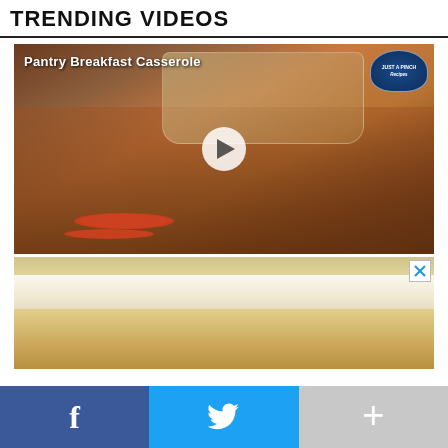TRENDING VIDEOS
[Figure (screenshot): Video thumbnail for 'Pantry Breakfast Casserole' showing a casserole dish and a plated serving with tomatoes, with a play button overlay and Just A Pinch Recipes logo]
[Figure (photo): Advertisement image showing a close-up of a frosted cake or bar dessert with white/cream frosting on top, with an X close button in the upper right corner]
Facebook share button, Twitter share button, More/plus share button